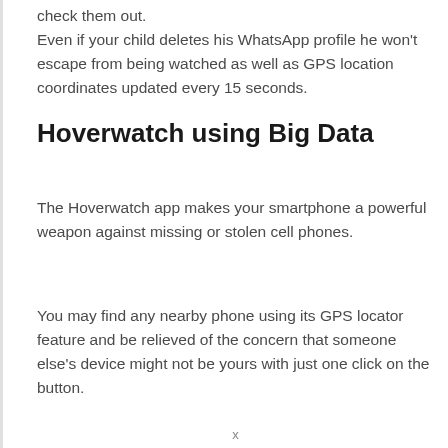check them out.
Even if your child deletes his WhatsApp profile he won't escape from being watched as well as GPS location coordinates updated every 15 seconds.
Hoverwatch using Big Data
The Hoverwatch app makes your smartphone a powerful weapon against missing or stolen cell phones.
You may find any nearby phone using its GPS locator feature and be relieved of the concern that someone else's device might not be yours with just one click on the button.
x